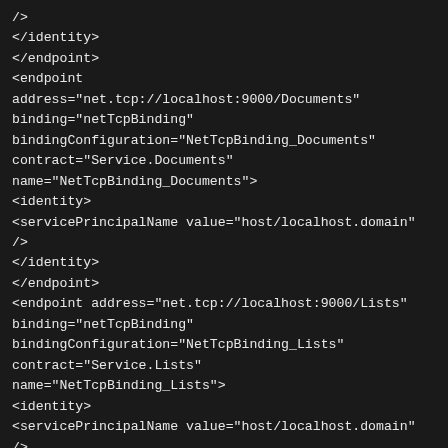/>
</identity>
</endpoint>
<endpoint
address="net.tcp://localhost:9000/Documents"
binding="netTcpBinding"
bindingConfiguration="NetTcpBinding_Documents"
contract="Service.Documents"
name="NetTcpBinding_Documents">
<identity>
<servicePrincipalName value="host/localhost.domain"
/>
</identity>
</endpoint>
<endpoint address="net.tcp://localhost:9000/Lists"
binding="netTcpBinding"
bindingConfiguration="NetTcpBinding_Lists"
contract="Service.Lists"
name="NetTcpBinding_Lists">
<identity>
<servicePrincipalName value="host/localhost.domain"
/>